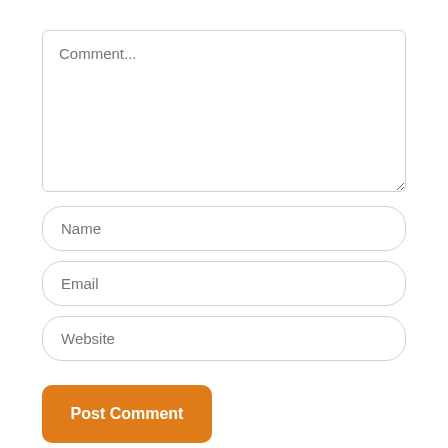[Figure (screenshot): A web comment form UI with a large textarea placeholder 'Comment...', three input fields labeled 'Name', 'Email', 'Website', and an orange 'Post Comment' button.]